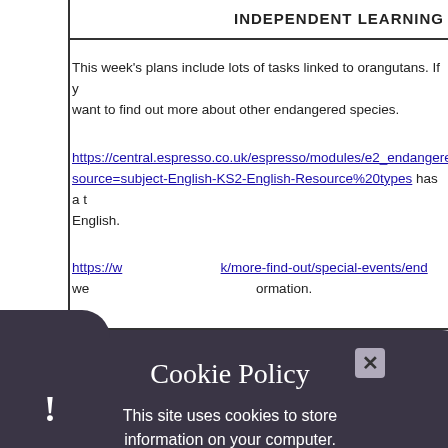INDEPENDENT LEARNING
This week's plans include lots of tasks linked to orangutans. If you want to find out more about other endangered species.
https://central.espresso.co.uk/espresso/modules/e2_endangered_... source=subject-English-KS2-English-Resource%20types has a ... English.
https://www...uk/more-find-out/special-events/end... website has plenty of useful information.
I am ... books ... this is the month to r...
English linked to Geography
[Figure (screenshot): Cookie Policy popup overlay with dark rounded background. Contains title 'Cookie Policy', body text 'This site uses cookies to store information on your computer. Click here for more information', and two buttons: 'Allow Cookies' and 'Deny Cookies'. A close button with an X is in the top right. A dark shape with an exclamation mark is visible at bottom left.]